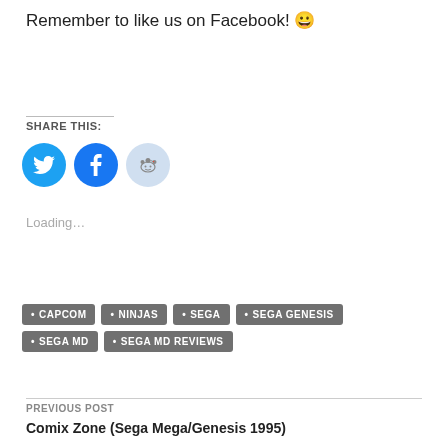Remember to like us on Facebook! 😀
SHARE THIS:
[Figure (other): Social sharing icons: Twitter (blue circle), Facebook (blue circle), Reddit (light blue circle)]
Loading…
CAPCOM
NINJAS
SEGA
SEGA GENESIS
SEGA MD
SEGA MD REVIEWS
PREVIOUS POST
Comix Zone (Sega Mega/Genesis 1995)